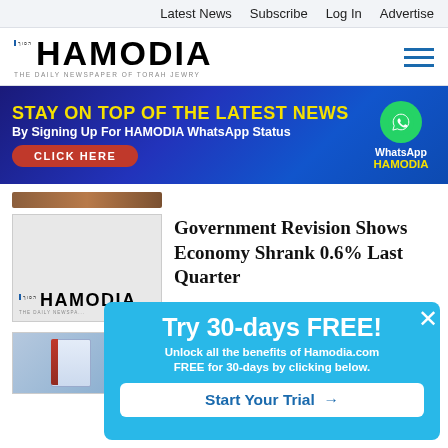Latest News  Subscribe  Log In  Advertise
[Figure (logo): Hamodia newspaper logo with Hebrew text and tagline: THE DAILY NEWSPAPER OF TORAH JEWRY]
[Figure (infographic): WhatsApp promotional banner: STAY ON TOP OF THE LATEST NEWS By Signing Up For HAMODIA WhatsApp Status CLICK HERE]
[Figure (photo): Hamodia newspaper cover thumbnail]
Government Revision Shows Economy Shrank 0.6% Last Quarter
[Figure (photo): Medicine/pharmaceutical product box on wooden surface]
[Figure (infographic): Popup overlay: Try 30-days FREE! Unlock all the benefits of Hamodia.com FREE for 30-days by clicking below. Start Your Trial →]